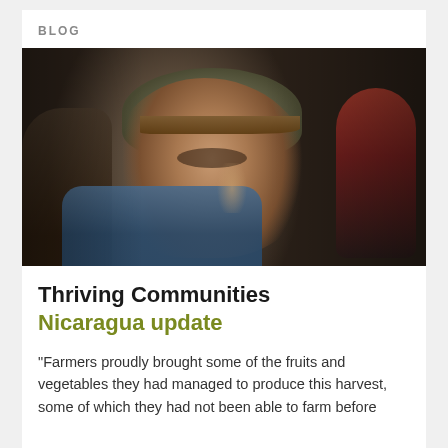BLOG
[Figure (photo): Close-up side profile of an elderly man wearing a worn baseball cap and plaid blue shirt, with other people blurred in the background]
Thriving Communities
Nicaragua update
"Farmers proudly brought some of the fruits and vegetables they had managed to produce this harvest, some of which they had not been able to farm before